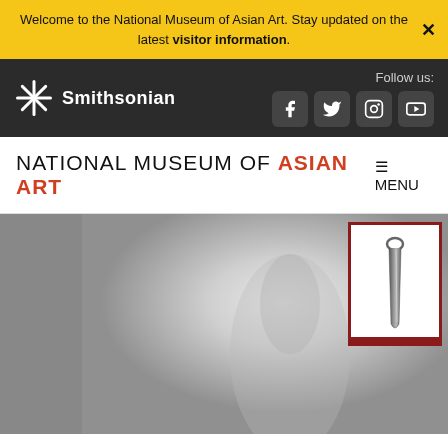Welcome to the National Museum of Asian Art. Stay updated on the latest visitor information.
[Figure (screenshot): Smithsonian logo with snowflake icon and social media icons (Facebook, Twitter, Instagram, YouTube) on dark navbar]
NATIONAL MUSEUM of ASIAN ART
[Figure (photo): Large zoomed-in gray-scale photo of a museum artifact (appears to be a hairpin or elongated tool), with a smaller thumbnail overlay in the top right corner showing the full artifact against white background, framed with a red border]